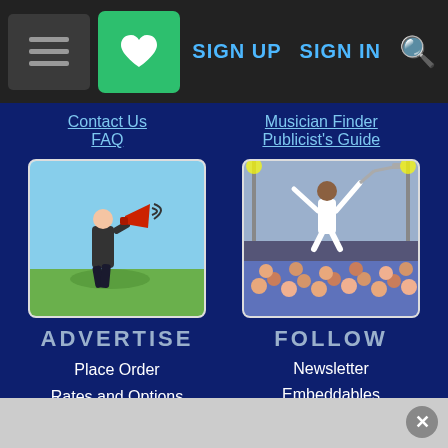[Figure (screenshot): Website navigation bar with menu icon, green heart icon, SIGN UP, SIGN IN links in blue, and a yellow search icon on dark background]
Contact Us
FAQ
Musician Finder
Publicist's Guide
[Figure (photo): Person in business suit standing on grass using a red megaphone, against a clear blue sky]
[Figure (photo): Performer on stage with arms raised holding what appears to be a trombone above a large crowd at an outdoor concert]
ADVERTISE
FOLLOW
Place Order
Rates and Options
For Musicians
Newsletter
Embeddables
RSS
Twitter
Facebook